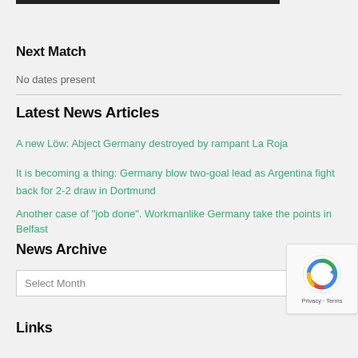Next Match
No dates present
Latest News Articles
A new Löw: Abject Germany destroyed by rampant La Roja
It is becoming a thing: Germany blow two-goal lead as Argentina fight back for 2-2 draw in Dortmund
Another case of "job done". Workmanlike Germany take the points in Belfast
News Archive
Select Month
Links